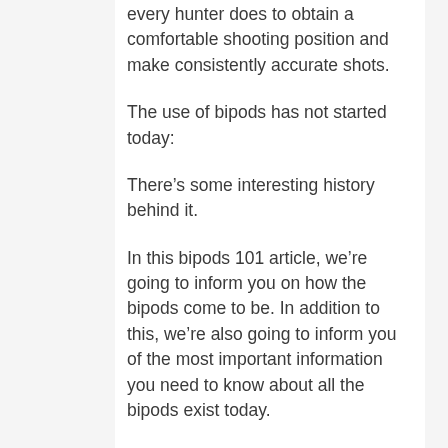every hunter does to obtain a comfortable shooting position and make consistently accurate shots.
The use of bipods has not started today:
There’s some interesting history behind it.
In this bipods 101 article, we’re going to inform you on how the bipods come to be. In addition to this, we’re also going to inform you of the most important information you need to know about all the bipods exist today.